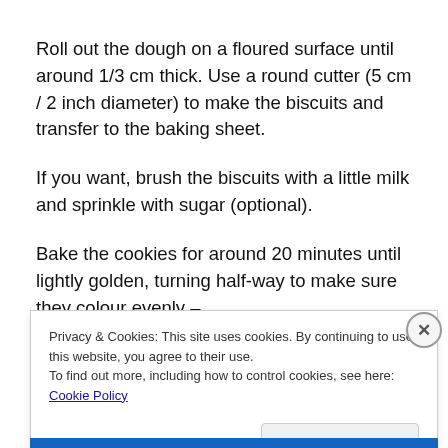Roll out the dough on a floured surface until around 1/3 cm thick. Use a round cutter (5 cm / 2 inch diameter) to make the biscuits and transfer to the baking sheet.
If you want, brush the biscuits with a little milk and sprinkle with sugar (optional).
Bake the cookies for around 20 minutes until lightly golden, turning half-way to make sure they colour evenly –
Privacy & Cookies: This site uses cookies. By continuing to use this website, you agree to their use.
To find out more, including how to control cookies, see here: Cookie Policy
Close and accept